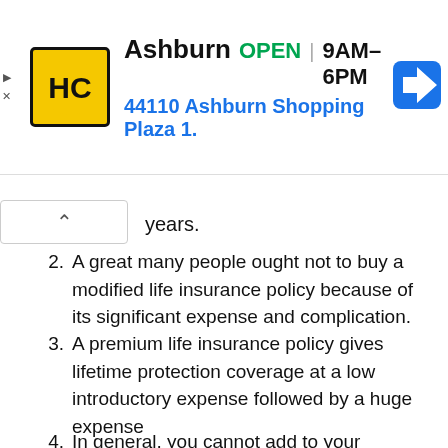[Figure (screenshot): Ad banner for HC (Hair Cuttery) Ashburn location showing logo, OPEN status, hours 9AM-6PM, address 44110 Ashburn Shopping Plaza 1., and navigation icon]
years.
2. A great many people ought not to buy a modified life insurance policy because of its significant expense and complication.
3. A premium life insurance policy gives lifetime protection coverage at a low introductory expense followed by a huge expense
4. In general, you cannot add to your strategy's cash value during the adjusted premium time frame.
5. In any case, the policy is as old as the entire...